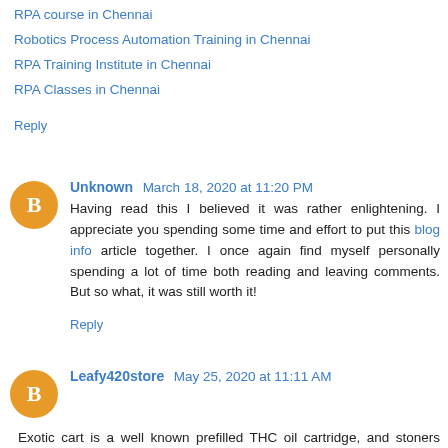RPA course in Chennai
Robotics Process Automation Training in Chennai
RPA Training Institute in Chennai
RPA Classes in Chennai
Reply
Unknown  March 18, 2020 at 11:20 PM
Having read this I believed it was rather enlightening. I appreciate you spending some time and effort to put this blog info article together. I once again find myself personally spending a lot of time both reading and leaving comments. But so what, it was still worth it!
Reply
Leafy420store  May 25, 2020 at 11:11 AM
Exotic cart is a well known prefilled THC oil cartridge, and stoners from the west to east drift use them. ... Our cartscontain premium lab tried THC Oil which these